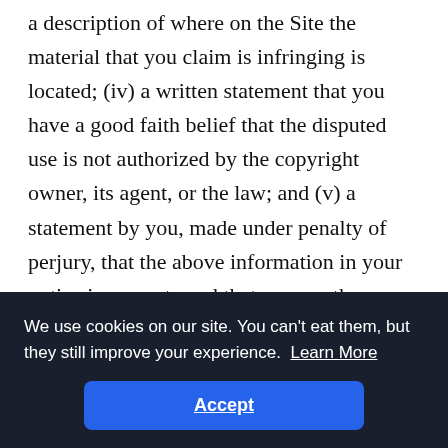a description of where on the Site the material that you claim is infringing is located; (iv) a written statement that you have a good faith belief that the disputed use is not authorized by the copyright owner, its agent, or the law; and (v) a statement by you, made under penalty of perjury, that the above information in your notice is accurate and that you are the copyright owner or authorized to act on the copyright owner's behalf. These requirements
We use cookies on our site. You can't eat them, but they still improve your experience. Learn More
Accept
suggest that you consult your legal advisor